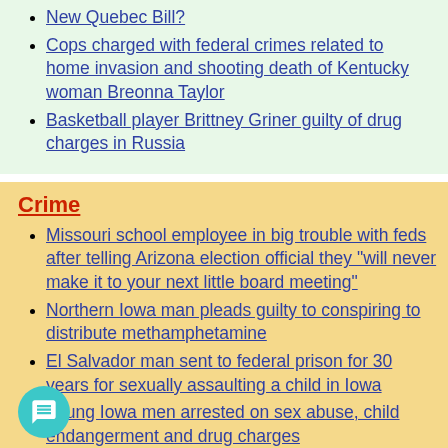New Quebec Bill?
Cops charged with federal crimes related to home invasion and shooting death of Kentucky woman Breonna Taylor
Basketball player Brittney Griner guilty of drug charges in Russia
Crime
Missouri school employee in big trouble with feds after telling Arizona election official they "will never make it to your next little board meeting"
Northern Iowa man pleads guilty to conspiring to distribute methamphetamine
El Salvador man sent to federal prison for 30 years for sexually assaulting a child in Iowa
Young Iowa men arrested on sex abuse, child endangerment and drug charges